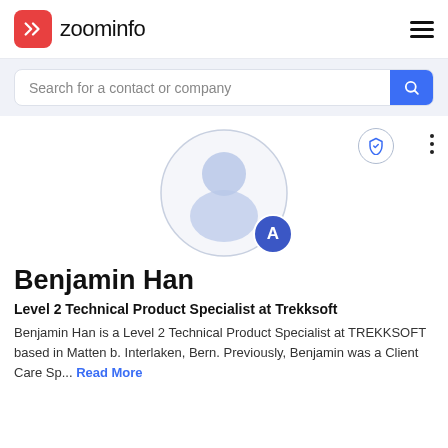zoominfo
Search for a contact or company
[Figure (illustration): ZoomInfo profile avatar placeholder with circular outline and generic person silhouette. A small blue circle badge with letter 'A' appears at bottom-right. A shield icon button and three-dot menu appear in the top-right area.]
Benjamin Han
Level 2 Technical Product Specialist at Trekksoft
Benjamin Han is a Level 2 Technical Product Specialist at TREKKSOFT based in Matten b. Interlaken, Bern. Previously, Benjamin was a Client Care Sp... Read More